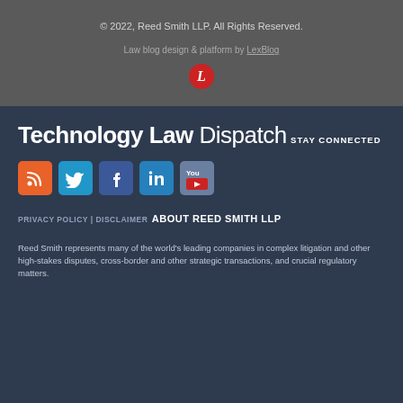© 2022, Reed Smith LLP. All Rights Reserved.
Law blog design & platform by LexBlog
Technology Law Dispatch
STAY CONNECTED
[Figure (infographic): Social media icons: RSS, Twitter, Facebook, LinkedIn, YouTube]
PRIVACY POLICY | DISCLAIMER
ABOUT REED SMITH LLP
Reed Smith represents many of the world's leading companies in complex litigation and other high-stakes disputes, cross-border and other strategic transactions, and crucial regulatory matters.